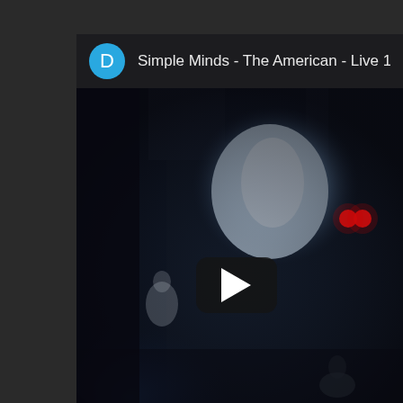[Figure (screenshot): YouTube video card showing a thumbnail of a dark concert/live event scene with dramatic backlighting and blue haze. A play button overlay is centered on the thumbnail. The top bar shows a circular blue avatar with letter 'D' and the title 'Simple Minds - The American - Live 10/15/1'. Background is dark gray.]